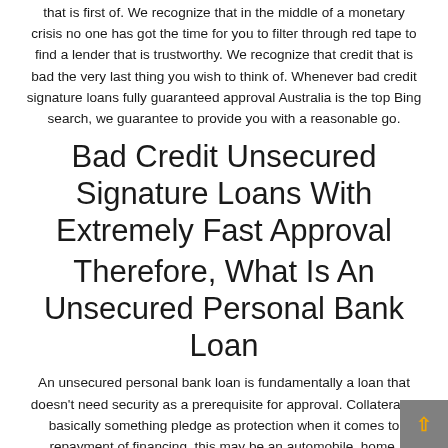that is first of. We recognize that in the middle of a monetary crisis no one has got the time for you to filter through red tape to find a lender that is trustworthy. We recognize that credit that is bad the very last thing you wish to think of. Whenever bad credit signature loans fully guaranteed approval Australia is the top Bing search, we guarantee to provide you with a reasonable go.
Bad Credit Unsecured Signature Loans With Extremely Fast Approval
Therefore, What Is An Unsecured Personal Bank Loan
An unsecured personal bank loan is fundamentally a loan that doesn't need security as a prerequisite for approval. Collateral is basically something pledge as protection when it comes to repayment of financing, this may be an automobile, home, motorbike or often paychecks that are even future, an